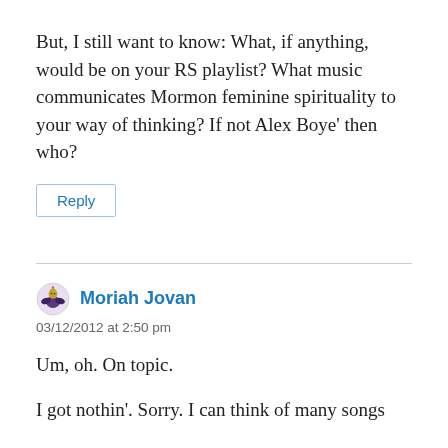But, I still want to know: What, if anything, would be on your RS playlist? What music communicates Mormon feminine spirituality to your way of thinking? If not Alex Boye' then who?
Reply
Moriah Jovan
03/12/2012 at 2:50 pm
Um, oh. On topic.
I got nothin'. Sorry. I can think of many songs that…